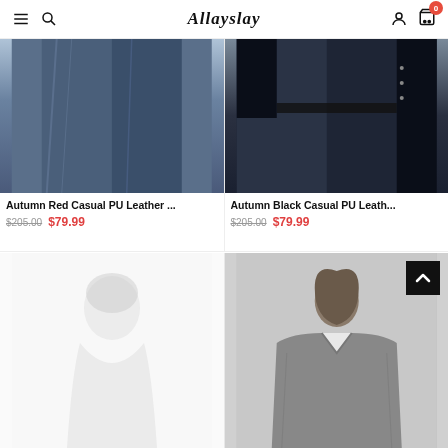Allayslay — navigation header with hamburger menu, search, brand logo, user icon, cart (0)
[Figure (photo): Close-up of dark blue denim jeans on model, cropped view showing legs, with size selector overlay showing 0 2 4 6]
[Figure (photo): Close-up of dark denim jeans with black leather jacket on model, with size selector overlay showing 0 2 4 6]
Autumn Red Casual PU Leather ...
$205.00   $79.99
Autumn Black Casual PU Leath...
$205.00   $79.99
[Figure (photo): Faded/ghosted image of model in white jacket, very low opacity]
[Figure (photo): Model wearing oversized grey denim jacket over white top, photographed against light background]